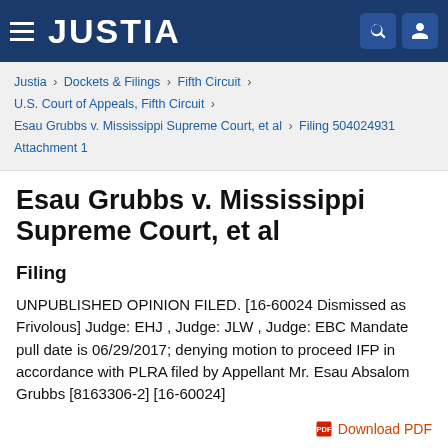JUSTIA
Justia › Dockets & Filings › Fifth Circuit › U.S. Court of Appeals, Fifth Circuit › Esau Grubbs v. Mississippi Supreme Court, et al › Filing 504024931 Attachment 1
Esau Grubbs v. Mississippi Supreme Court, et al
Filing
UNPUBLISHED OPINION FILED. [16-60024 Dismissed as Frivolous] Judge: EHJ , Judge: JLW , Judge: EBC Mandate pull date is 06/29/2017; denying motion to proceed IFP in accordance with PLRA filed by Appellant Mr. Esau Absalom Grubbs [8163306-2] [16-60024]
Download PDF